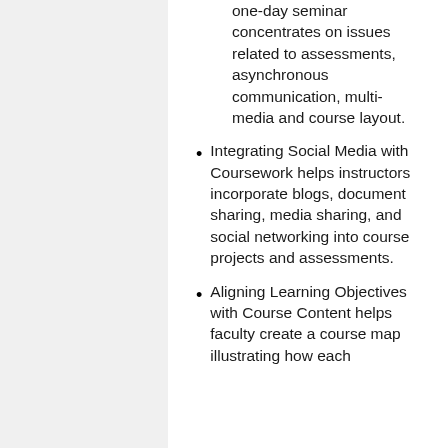one-day seminar concentrates on issues related to assessments, asynchronous communication, multi-media and course layout.
Integrating Social Media with Coursework helps instructors incorporate blogs, document sharing, media sharing, and social networking into course projects and assessments.
Aligning Learning Objectives with Course Content helps faculty create a course map illustrating how each